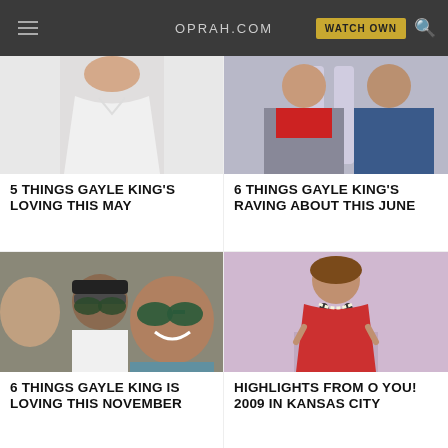OPRAH.COM
[Figure (photo): Woman in white dress, torso visible]
5 THINGS GAYLE KING'S LOVING THIS MAY
[Figure (photo): Two people, one in red scarf and one in blue shirt]
6 THINGS GAYLE KING'S RAVING ABOUT THIS JUNE
[Figure (photo): Selfie with three people, one wearing sunglasses]
6 THINGS GAYLE KING IS LOVING THIS NOVEMBER
[Figure (photo): Woman in red dress on stage with necklace]
HIGHLIGHTS FROM O YOU! 2009 IN KANSAS CITY